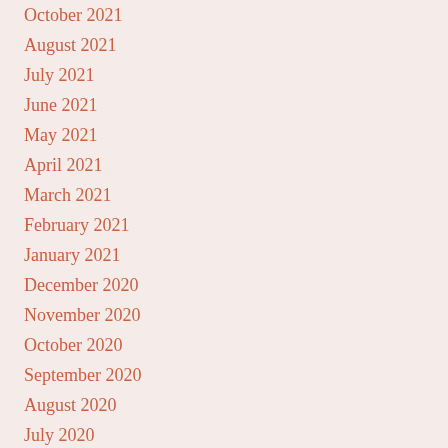October 2021
August 2021
July 2021
June 2021
May 2021
April 2021
March 2021
February 2021
January 2021
December 2020
November 2020
October 2020
September 2020
August 2020
July 2020
June 2020
May 2020